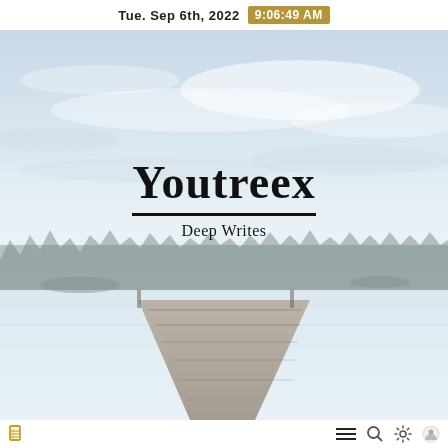Tue. Sep 6th, 2022  9:06:49 AM
[Figure (photo): Scenic landscape photo: misty lake with a wooden dock/pier extending into calm water, forest of evergreen trees in the background, pale blue-grey cloudy sky. The scene is washed out and light, creating a calm, minimalist atmosphere.]
Youtreex
Deep Writes
navigation icons: home/book, menu, search, settings